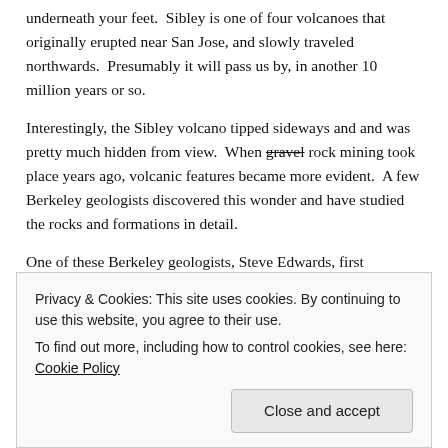underneath your feet.  Sibley is one of four volcanoes that originally erupted near San Jose, and slowly traveled northwards.  Presumably it will pass us by, in another 10 million years or so.
Interestingly, the Sibley volcano tipped sideways and and was pretty much hidden from view.  When gravel rock mining took place years ago, volcanic features became more evident.  A few Berkeley geologists discovered this wonder and have studied the rocks and formations in detail.
One of these Berkeley geologists, Steve Edwards, first
Privacy & Cookies: This site uses cookies. By continuing to use this website, you agree to their use.
To find out more, including how to control cookies, see here: Cookie Policy